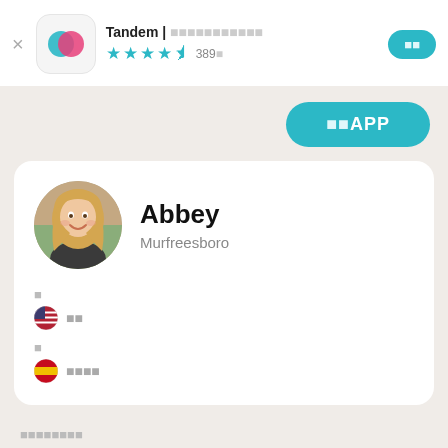Tandem | 언어교환 파트너 찾기
★★★★½ 389개
열기
열기APP
[Figure (photo): Profile photo of Abbey, a young woman with long blonde hair, smiling outdoors]
Abbey
Murfreesboro
🇺🇸 영어
🇪🇸 스페인어
자기소개